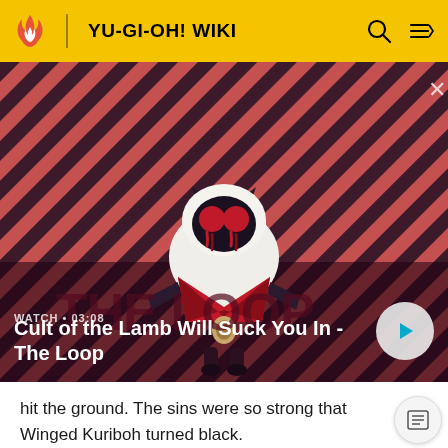YU-GI-OH! WIKI
[Figure (screenshot): Video thumbnail showing 'Cult of the Lamb Will Suck You In - The Loop' with a cartoon lamb character on a red diagonal striped background. Duration shown as 03:08.]
hit the ground. The sins were so strong that Winged Kuriboh turned black.
Modern times
In the manga, Koyo Hibiki received the "Winged Kuriboh"